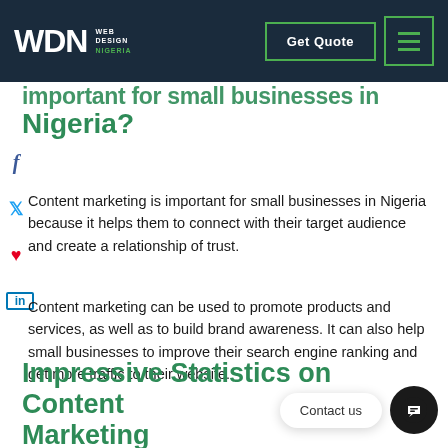WDN Web Design Nigeria | Get Quote | Menu
important for small businesses in Nigeria?
Content marketing is important for small businesses in Nigeria because it helps them to connect with their target audience and create a relationship of trust.
Content marketing can be used to promote products and services, as well as to build brand awareness. It can also help small businesses to improve their search engine ranking and get more traffic to their website.
Impressive Statistics on Content Marketing